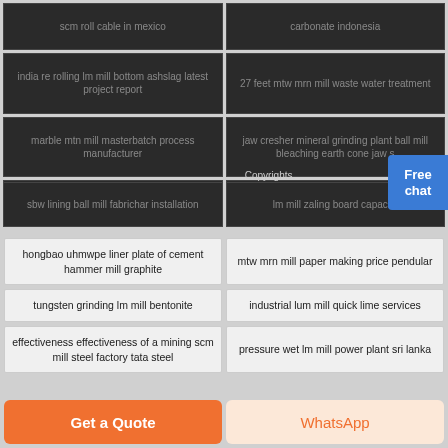scm roll cable in mexico
carbonate indonesia
india re rolling lm mill bottom ashslag latest project report
27 feet mtw mrn mill waste water treatment
marble mtn mill masterbatch process manufacturer
jaw cresher mineral grinding plant ball mill bleaching earth cone jaw s
mtw mrn mill glaze work index heavy
orord grinding scm mill bento...
sbw lining ball mill fabrichar installation
lm mill zaling board capacity
Copyrights.
hongbao uhmwpe liner plate of cement hammer mill graphite
mtw mrn mill paper making price pendular
tungsten grinding lm mill bentonite
industrial lum mill quick lime services
effectiveness effectiveness of a mining scm mill steel factory tata steel
pressure wet lm mill power plant sri lanka
Get a Quote
WhatsApp